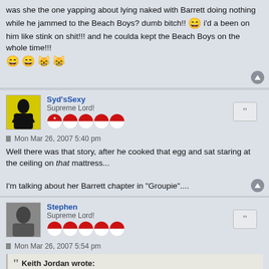was she the one yapping about lying naked with Barrett doing nothing while he jammed to the Beach Boys? dumb bitch!! 😄 i'd a been on him like stink on shit!!! and he coulda kept the Beach Boys on the whole time!!! 😄 😄 😸 😸
Syd'sSexy
Supreme Lord!
Mon Mar 26, 2007 5:40 pm
Well there was that story, after he cooked that egg and sat staring at the ceiling on that mattress...

I'm talking about her Barrett chapter in "Groupie"....
Stephen
Supreme Lord!
Mon Mar 26, 2007 5:54 pm
Keith Jordan wrote: